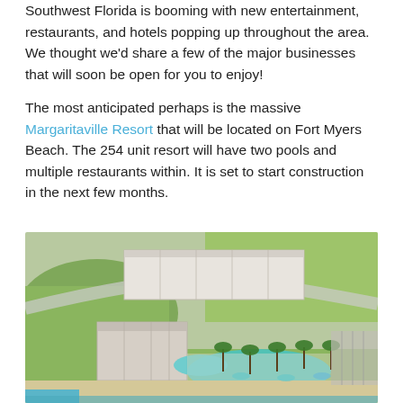Southwest Florida is booming with new entertainment, restaurants, and hotels popping up throughout the area. We thought we'd share a few of the major businesses that will soon be open for you to enjoy!
The most anticipated perhaps is the massive Margaritaville Resort that will be located on Fort Myers Beach. The 254 unit resort will have two pools and multiple restaurants within. It is set to start construction in the next few months.
[Figure (photo): Aerial rendering of the Margaritaville Resort on Fort Myers Beach, showing a large hotel complex with two pools, palm trees, beach access, and surrounding green landscaping.]